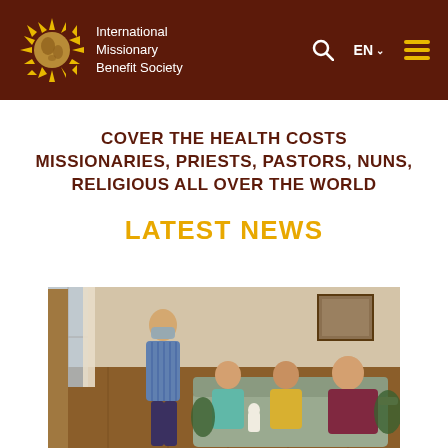International Missionary Benefit Society
COVER THE HEALTH COSTS MISSIONARIES, PRIESTS, PASTORS, NUNS, RELIGIOUS ALL OVER THE WORLD
LATEST NEWS
[Figure (photo): Four people in a room with wood-paneled walls. One man stands wearing a face mask and blue striped shirt. Three people sit on a couch: a woman in teal, a woman in yellow, and a man in a dark red shirt. There is a framed picture on the wall and plants visible.]